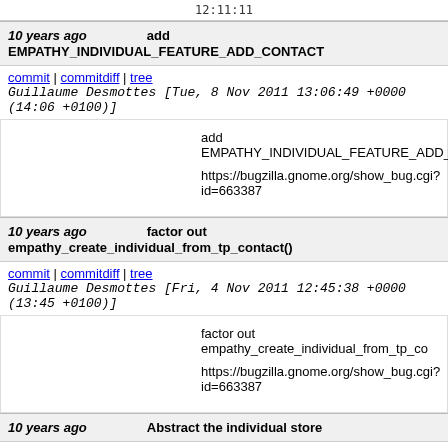(partial top content cut off)
10 years ago    add EMPATHY_INDIVIDUAL_FEATURE_ADD_CONTACT
commit | commitdiff | tree    Guillaume Desmottes [Tue, 8 Nov 2011 13:06:49 +0000 (14:06 +0100)]
add EMPATHY_INDIVIDUAL_FEATURE_ADD_CONTACT

https://bugzilla.gnome.org/show_bug.cgi?id=663387
10 years ago    factor out empathy_create_individual_from_tp_contact()
commit | commitdiff | tree    Guillaume Desmottes [Fri, 4 Nov 2011 12:45:38 +0000 (13:45 +0100)]
factor out empathy_create_individual_from_tp_contact()

https://bugzilla.gnome.org/show_bug.cgi?id=663387
10 years ago    Abstract the individual store
commit | commitdiff | tree    Guillaume Desmottes [Fri, 4 Nov 2011 11:15:47 +0000 (12:15 +0100)]